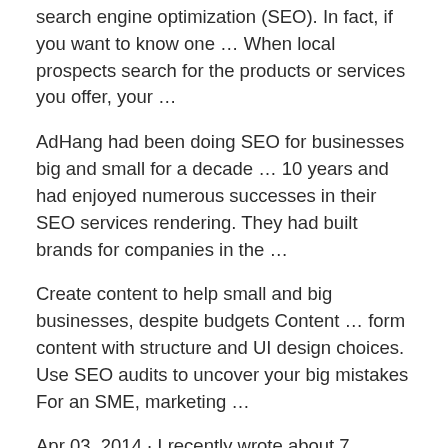search engine optimization (SEO). In fact, if you want to know one … When local prospects search for the products or services you offer, your …
AdHang had been doing SEO for businesses big and small for a decade … 10 years and had enjoyed numerous successes in their SEO services rendering. They had built brands for companies in the …
Create content to help small and big businesses, despite budgets Content … form content with structure and UI design choices. Use SEO audits to uncover your big mistakes For an SME, marketing …
Apr 03, 2014 · I recently wrote about 7 Reasons Why Your Business Should Invest in SEO, which generated a fair amount of views and shares. I